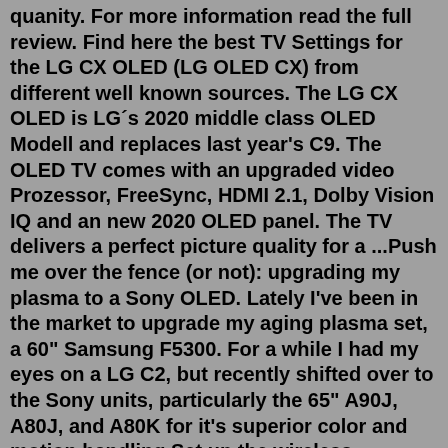quanity. For more information read the full review. Find here the best TV Settings for the LG CX OLED (LG OLED CX) from different well known sources. The LG CX OLED is LG´s 2020 middle class OLED Modell and replaces last year's C9. The OLED TV comes with an upgraded video Prozessor, FreeSync, HDMI 2.1, Dolby Vision IQ and an new 2020 OLED panel. The TV delivers a perfect picture quality for a ...Push me over the fence (or not): upgrading my plasma to a Sony OLED. Lately I've been in the market to upgrade my aging plasma set, a 60" Samsung F5300. For a while I had my eyes on a LG C2, but recently shifted over to the Sony units, particularly the 65" A90J, A80J, and A80K for it's superior color and motion handling.Set up the wireless network's name and password that has already been saved onto your Roku device previously. Use the second phone to install and run the Roku app. Now, turn your Roku Streaming Stick On. Open up the Roku app on the phone and tap on the remote icon. Let the Roku Stick detect and connect to the